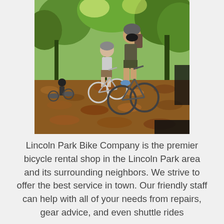[Figure (photo): Group of cyclists riding mountain bikes on a trail covered with autumn leaves, surrounded by trees. The foreground shows a woman riding towards the camera, with a man and another cyclist behind her.]
Lincoln Park Bike Company is the premier bicycle rental shop in the Lincoln Park area and its surrounding neighbors. We strive to offer the best service in town. Our friendly staff can help with all of your needs from repairs, gear advice, and even shuttle rides